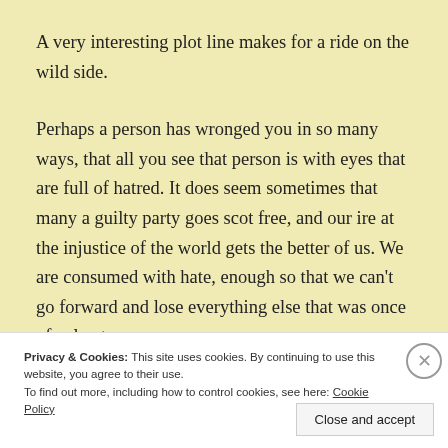A very interesting plot line makes for a ride on the wild side.
Perhaps a person has wronged you in so many ways, that all you see that person is with eyes that are full of hatred. It does seem sometimes that many a guilty party goes scot free, and our ire at the injustice of the world gets the better of us. We are consumed with hate, enough so that we can't go forward and lose everything else that was once of value to us.
Privacy & Cookies: This site uses cookies. By continuing to use this website, you agree to their use.
To find out more, including how to control cookies, see here: Cookie Policy